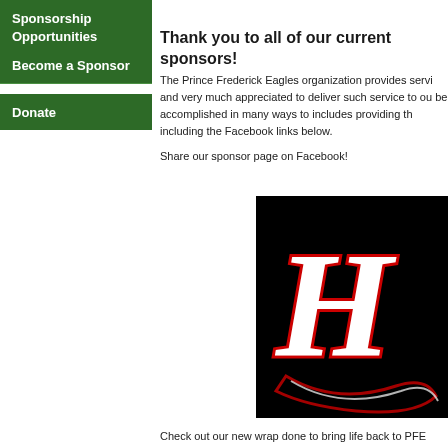Sponsorship Opportunities
Become a Sponsor
Donate
Thank you to all of our current sponsors!
The Prince Frederick Eagles organization provides servi... and very much appreciated to deliver such service to ou... be accomplished in many ways to includes providing th... including the Facebook links below.
Share our sponsor page on Facebook!
[Figure (logo): Eagles organization logo — white cursive script on black background with red outline]
Check out our new wrap done to bring life back to PFE...